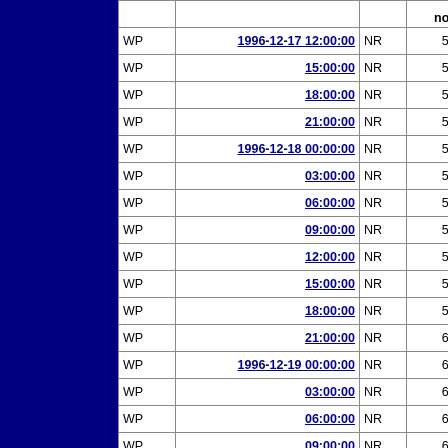|  |  |  | north |
| --- | --- | --- | --- |
| WP | 1996-12-17 12:00:00 | NR | 5.20 |
| WP | 15:00:00 | NR | 5.31 |
| WP | 18:00:00 | NR | 5.40 |
| WP | 21:00:00 | NR | 5.46 |
| WP | 1996-12-18 00:00:00 | NR | 5.50 |
| WP | 03:00:00 | NR | 5.55 |
| WP | 06:00:00 | NR | 5.60 |
| WP | 09:00:00 | NR | 5.64 |
| WP | 12:00:00 | NR | 5.70 |
| WP | 15:00:00 | NR | 5.79 |
| WP | 18:00:00 | NR | 5.90 |
| WP | 21:00:00 | NR | 6.00 |
| WP | 1996-12-19 00:00:00 | NR | 6.10 |
| WP | 03:00:00 | NR | 6.20 |
| WP | 06:00:00 | NR | 6.30 |
| WP | 09:00:00 | NR | 6.39 |
| WP | 12:00:00 | NR | 6.50 |
| WP | 15:00:00 | NR | 6.62 |
| WP | 18:00:00 | NR | 6.80 |